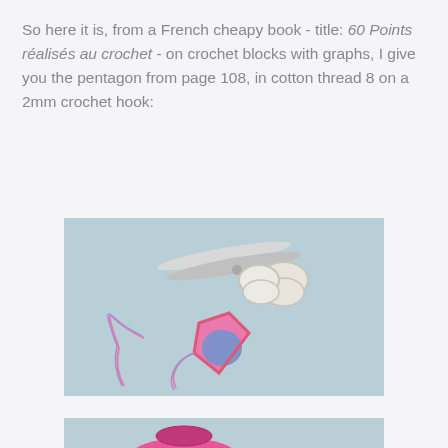So here it is, from a French cheapy book - title: 60 Points réalisés au crochet - on crochet blocks with graphs, I give you the pentagon from page 108, in cotton thread 8 on a 2mm crochet hook:
[Figure (photo): A crocheted pink and blue pentagon motif with trailing threads, next to a pair of white-handled scissors, on a light blue background.]
[Figure (photo): A spool of pink/magenta thread with trailing strands visible, on a light blue background.]